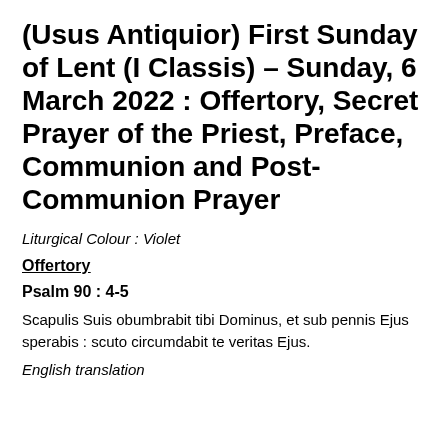(Usus Antiquior) First Sunday of Lent (I Classis) – Sunday, 6 March 2022 : Offertory, Secret Prayer of the Priest, Preface, Communion and Post-Communion Prayer
Liturgical Colour : Violet
Offertory
Psalm 90 : 4-5
Scapulis Suis obumbrabit tibi Dominus, et sub pennis Ejus sperabis : scuto circumdabit te veritas Ejus.
English translation